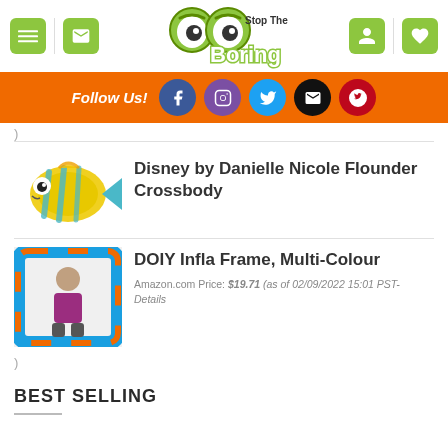[Figure (logo): Stop The Boring website logo with cartoon eyes and green text]
[Figure (infographic): Follow Us bar with Facebook, Instagram, Twitter, Email, Pinterest social icons on orange background]
)
[Figure (photo): Disney by Danielle Nicole Flounder Crossbody bag shaped like a tropical fish]
Disney by Danielle Nicole Flounder Crossbody
[Figure (photo): DOIY Infla Frame, Multi-Colour - inflatable photo frame product with person posing]
DOIY Infla Frame, Multi-Colour
Amazon.com Price: $19.71 (as of 02/09/2022 15:01 PST- Details
)
BEST SELLING